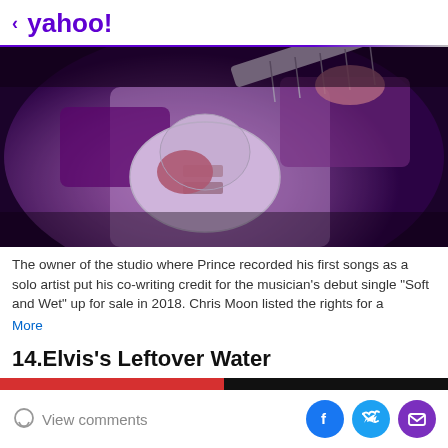< yahoo!
[Figure (photo): Close-up photograph of a person playing a white electric guitar on stage under purple lighting]
The owner of the studio where Prince recorded his first songs as a solo artist put his co-writing credit for the musician's debut single "Soft and Wet" up for sale in 2018. Chris Moon listed the rights for a
More
14.Elvis's Leftover Water
[Figure (photo): Partial image strip — red left half, black right half]
View comments